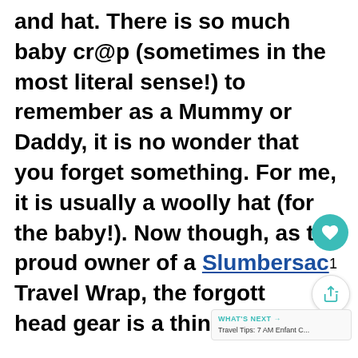and hat. There is so much baby cr@p (sometimes in the most literal sense!) to remember as a Mummy or Daddy, it is no wonder that you forget something. For me, it is usually a woolly hat (for the baby!). Now though, as the proud owner of a Slumbersac Travel Wrap, the forgotten head gear is a thing of the